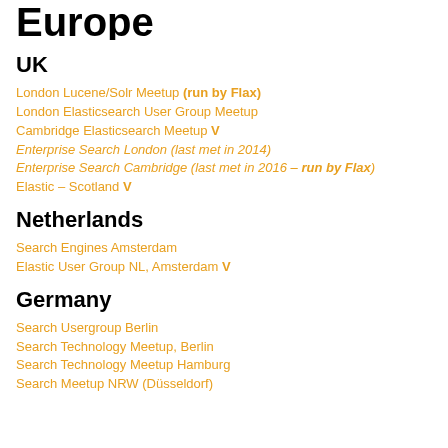Europe
UK
London Lucene/Solr Meetup (run by Flax)
London Elasticsearch User Group Meetup
Cambridge Elasticsearch Meetup V
Enterprise Search London (last met in 2014)
Enterprise Search Cambridge (last met in 2016 – run by Flax)
Elastic – Scotland V
Netherlands
Search Engines Amsterdam
Elastic User Group NL, Amsterdam V
Germany
Search Usergroup Berlin
Search Technology Meetup, Berlin
Search Technology Meetup Hamburg
Search Meetup NRW (Düsseldorf)